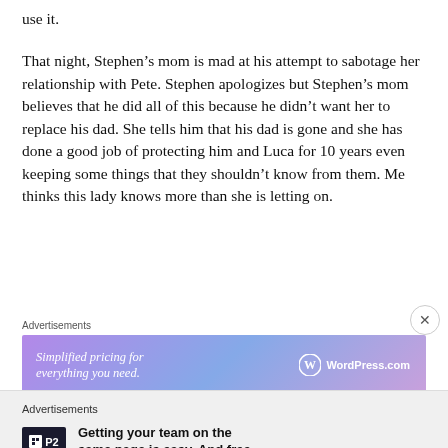use it.
That night, Stephen’s mom is mad at his attempt to sabotage her relationship with Pete. Stephen apologizes but Stephen’s mom believes that he did all of this because he didn’t want her to replace his dad. She tells him that his dad is gone and she has done a good job of protecting him and Luca for 10 years even keeping some things that they shouldn’t know from them. Me thinks this lady knows more than she is letting on.
Advertisements
[Figure (other): WordPress.com advertisement banner: 'Simplified pricing for everything you need.' with WordPress.com logo]
REPORT THIS AD
Advertisements
[Figure (other): P2 advertisement: logo with 'Getting your team on the same page is easy. And free.']